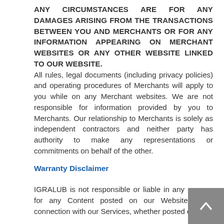ANY CIRCUMSTANCES ARE FOR ANY DAMAGES ARISING FROM THE TRANSACTIONS BETWEEN YOU AND MERCHANTS OR FOR ANY INFORMATION APPEARING ON MERCHANT WEBSITES OR ANY OTHER WEBSITE LINKED TO OUR WEBSITE.
All rules, legal documents (including privacy policies) and operating procedures of Merchants will apply to you while on any Merchant websites. We are not responsible for information provided by you to Merchants. Our relationship to Merchants is solely as independent contractors and neither party has authority to make any representations or commitments on behalf of the other.
Warranty Disclaimer
IGRALUB is not responsible or liable in any manner for any Content posted on our Website or in connection with our Services, whether posted or